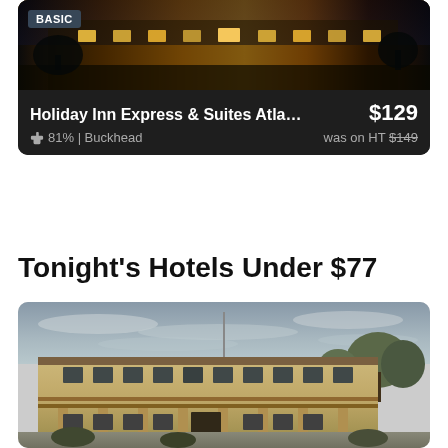[Figure (photo): Hotel card showing Holiday Inn Express & Suites Atlanta - Buckhead. Top portion shows a warmly lit hotel exterior photo at night with golden lighting. Below is a dark info bar with BASIC badge, hotel name, price $129, thumbs up rating 81%, Buckhead location, and 'was on HT $149' strikethrough price.]
Tonight's Hotels Under $77
[Figure (photo): Photo of a budget motel exterior - a two-story beige/tan building with exterior corridors, overcast cloudy sky, trees in background, parking lot in foreground.]